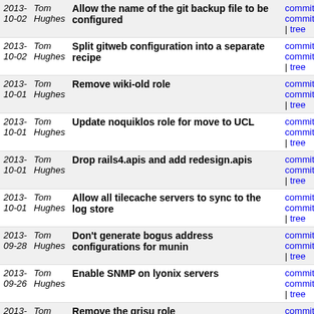| Date | Author | Message | Links |
| --- | --- | --- | --- |
| 2013-10-02 | Tom Hughes | Allow the name of the git backup file to be configured | commit | commitdiff | tree |
| 2013-10-02 | Tom Hughes | Split gitweb configuration into a separate recipe | commit | commitdiff | tree |
| 2013-10-01 | Tom Hughes | Remove wiki-old role | commit | commitdiff | tree |
| 2013-10-01 | Tom Hughes | Update noquiklos role for move to UCL | commit | commitdiff | tree |
| 2013-10-01 | Tom Hughes | Drop rails4.apis and add redesign.apis | commit | commitdiff | tree |
| 2013-10-01 | Tom Hughes | Allow all tilecache servers to sync to the log store | commit | commitdiff | tree |
| 2013-09-28 | Tom Hughes | Don't generate bogus address configurations for munin | commit | commitdiff | tree |
| 2013-09-26 | Tom Hughes | Enable SNMP on lyonix servers | commit | commitdiff | tree |
| 2013-09-24 | Tom Hughes | Remove the grisu role | commit | commitdiff | tree |
| 2013-09-24 | Tom Hughes | Add newer version of fw_conntrack munin plugin | commit | commitdiff | tree |
| 2013-09-22 | Tom Hughes | Update to version 2.4.0 of the carto stylesheet | commit | commitdiff | tree |
| 2013-09-22 | Tom Hughes | Install nodejs for asset compilation support | commit | commitdiff | tree |
| 2013-09-19 | Tom Hughes | Fix redirect of http://www.openstreetmap.org.uk/events.ics | commit | commitdiff | tree |
| 2013-... | Tom Hughes | Reduce tile expiry cutoff time to 28 days | commit | commitdiff | tree |